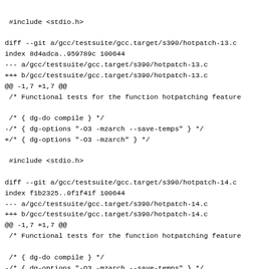#include <stdio.h>

diff --git a/gcc/testsuite/gcc.target/s390/hotpatch-13.c
index 8d4adca..959789c 100644
--- a/gcc/testsuite/gcc.target/s390/hotpatch-13.c
+++ b/gcc/testsuite/gcc.target/s390/hotpatch-13.c
@@ -1,7 +1,7 @@
 /* Functional tests for the function hotpatching feature

 /* { dg-do compile } */
-/* { dg-options "-O3 -mzarch --save-temps" } */
+/* { dg-options "-O3 -mzarch" } */

 #include <stdio.h>

diff --git a/gcc/testsuite/gcc.target/s390/hotpatch-14.c
index f1b2325..0f1f41f 100644
--- a/gcc/testsuite/gcc.target/s390/hotpatch-14.c
+++ b/gcc/testsuite/gcc.target/s390/hotpatch-14.c
@@ -1,7 +1,7 @@
 /* Functional tests for the function hotpatching feature

 /* { dg-do compile } */
-/* { dg-options "-O3 -mzarch --save-temps" } */
+/* { dg-options "-O3 -mzarch" } */

 #include <stdio.h>

diff --git a/gcc/testsuite/gcc.target/s390/hotpatch-15.c
index b4159d0...886485 100644